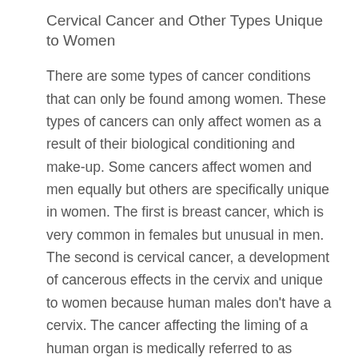Cervical Cancer and Other Types Unique to Women
There are some types of cancer conditions that can only be found among women. These types of cancers can only affect women as a result of their biological conditioning and make-up. Some cancers affect women and men equally but others are specifically unique in women. The first is breast cancer, which is very common in females but unusual in men. The second is cervical cancer, a development of cancerous effects in the cervix and unique to women because human males don't have a cervix. The cancer affecting the liming of a human organ is medically referred to as carcinoma. Both breast and cervical cancers are carcinoma cases.
Most cervical cases of cancer develop after a woman has been diagnosed with Human Papilloma Virus (HPV). Cervical and breast cancer is better detected during its early stages of development to avoid severe